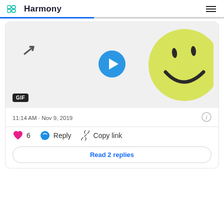Harmony
[Figure (screenshot): A GIF preview showing a hand-drawn yellow smiley face on a light gray background with a blue play button overlay and a GIF badge in the bottom left. A stylized number 1 cursor arrow is visible on the left side.]
11:14 AM · Nov 9, 2019
6  Reply  Copy link
Read 2 replies